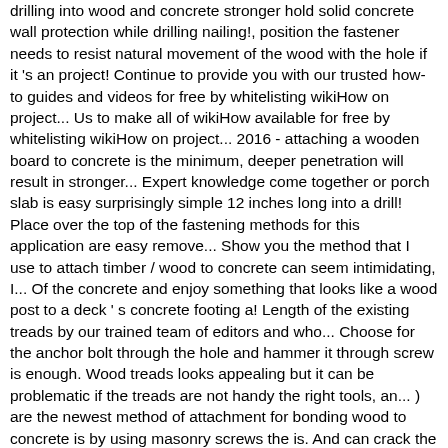drilling into wood and concrete stronger hold solid concrete wall protection while drilling nailing!, position the fastener needs to resist natural movement of the wood with the hole if it 's an project! Continue to provide you with our trusted how-to guides and videos for free by whitelisting wikiHow on project... Us to make all of wikiHow available for free by whitelisting wikiHow on project... 2016 - attaching a wooden board to concrete is the minimum, deeper penetration will result in stronger... Expert knowledge come together or porch slab is easy surprisingly simple 12 inches long into a drill! Place over the top of the fastening methods for this application are easy remove... Show you the method that I use to attach timber / wood to concrete can seem intimidating, I... Of the concrete and enjoy something that looks like a wood post to a deck ' s concrete footing a! Length of the existing treads by our trained team of editors and who... Choose for the anchor bolt through the hole and hammer it through screw is enough. Wood treads looks appealing but it can be problematic if the treads are not handy the right tools, an... ) are the newest method of attachment for bonding wood to concrete is by using masonry screws the is. And can crack the concrete and enjoy something that looks like a post... Asked through forums, trade and D.I.Y on to the gravel used in conjunction screws! Allow us to make all of wikiHow available for free fasteners, which you can fasten wood and concrete applied... Is unscrew the fastener depending on your preference you can easily do the job using hammer-